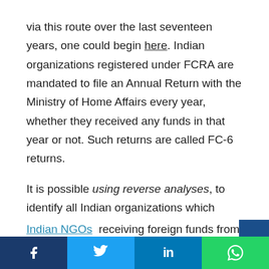via this route over the last seventeen years, one could begin here. Indian organizations registered under FCRA are mandated to file an Annual Return with the Ministry of Home Affairs every year, whether they received any funds in that year or not. Such returns are called FC-6 returns.

It is possible using reverse analyses, to identify all Indian organizations which have received funds from a foreign entity via FCRA. The same methodology was put to effective use in the past, to identify Indian NGOs  receiving foreign funds from Opera
Facebook | Twitter | LinkedIn | WhatsApp